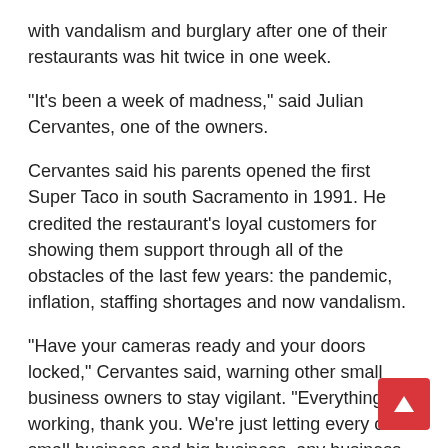with vandalism and burglary after one of their restaurants was hit twice in one week.
“It’s been a week of madness,” said Julian Cervantes, one of the owners.
Cervantes said his parents opened the first Super Taco in south Sacramento in 1991. He credited the restaurant’s loyal customers for showing them support through all of the obstacles of the last few years: the pandemic, inflation, staffing shortages and now vandalism.
“Have your cameras ready and your doors locked,” Cervantes said, warning other small business owners to stay vigilant. “Everything was working, thank you. We’re just letting every other small business and big business, any business, know: Check your cameras. Make sure your recordings are working.”